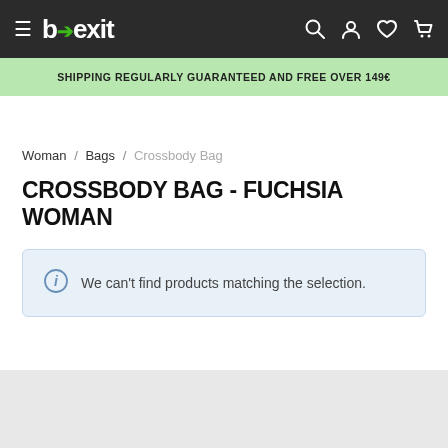b→exit  [navigation icons]
SHIPPING REGULARLY GUARANTEED AND FREE OVER 149€
Woman / Bags / Crossbody Bag
CROSSBODY BAG - FUCHSIA WOMAN
We can't find products matching the selection.